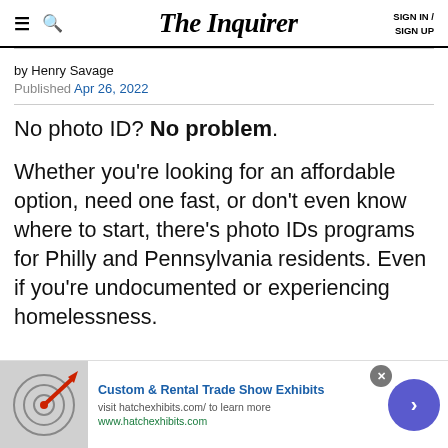The Inquirer | SIGN IN / SIGN UP
by Henry Savage
Published Apr 26, 2022
No photo ID? No problem.
Whether you're looking for an affordable option, need one fast, or don't even know where to start, there's photo IDs programs for Philly and Pennsylvania residents. Even if you're undocumented or experiencing homelessness.
[Figure (other): Advertisement banner for Custom & Rental Trade Show Exhibits at hatchexhibits.com, with dart board image]